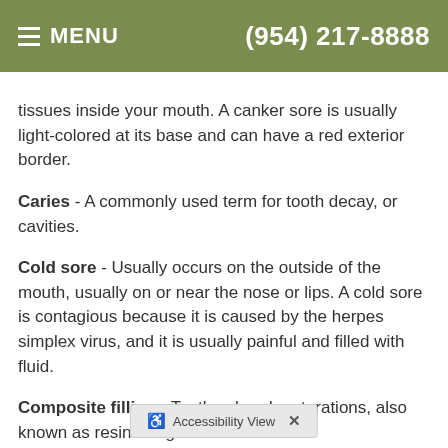MENU  (954) 217-8888
tissues inside your mouth. A canker sore is usually light-colored at its base and can have a red exterior border.
Caries - A commonly used term for tooth decay, or cavities.
Cold sore - Usually occurs on the outside of the mouth, usually on or near the nose or lips. A cold sore is contagious because it is caused by the herpes simplex virus, and it is usually painful and filled with fluid.
Composite filling - Tooth colored restorations, also known as resin fillings.
Composite resin - A tooth colored resin combined with silica or porcelain and used as a restoration material.